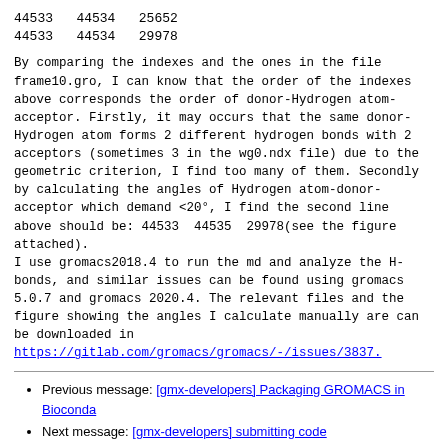44533   44534   25652
44533   44534   29978
By comparing the indexes and the ones in the file frame10.gro, I can know that the order of the indexes above corresponds the order of donor-Hydrogen atom-acceptor. Firstly, it may occurs that the same donor-Hydrogen atom forms 2 different hydrogen bonds with 2 acceptors (sometimes 3 in the wg0.ndx file) due to the geometric criterion, I find too many of them. Secondly by calculating the angles of Hydrogen atom-donor-acceptor which demand <20°, I find the second line above should be: 44533  44535  29978(see the figure attached).
I use gromacs2018.4 to run the md and analyze the H-bonds, and similar issues can be found using gromacs 5.0.7 and gromacs 2020.4. The relevant files and the figure showing the angles I calculate manually are can be downloaded in
https://gitlab.com/gromacs/gromacs/-/issues/3837.
Previous message: [gmx-developers] Packaging GROMACS in Bioconda
Next message: [gmx-developers] submitting code
Messages sorted by: [ date ] [ thread ] [ subject ] [ author ]
More information about the gromacs.org_gmx-developers mailing